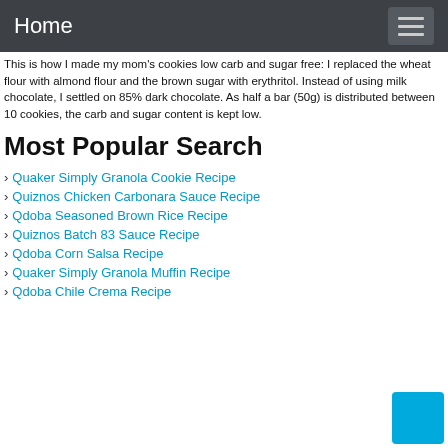Home
This is how I made my mom’s cookies low carb and sugar free: I replaced the wheat flour with almond flour and the brown sugar with erythritol. Instead of using milk chocolate, I settled on 85% dark chocolate. As half a bar (50g) is distributed between 10 cookies, the carb and sugar content is kept low.
Most Popular Search
Quaker Simply Granola Cookie Recipe
Quiznos Chicken Carbonara Sauce Recipe
Qdoba Seasoned Brown Rice Recipe
Quiznos Batch 83 Sauce Recipe
Qdoba Corn Salsa Recipe
Quaker Simply Granola Muffin Recipe
Qdoba Chile Crema Recipe